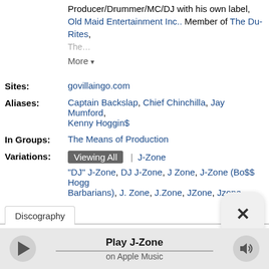Producer/Drummer/MC/DJ with his own label, Old Maid Entertainment Inc.. Member of The Du-Rites, The…
More ▾
Sites: govillaingo.com
Aliases: Captain Backslap, Chief Chinchilla, Jay Mumford, Kenny Hoggin$
In Groups: The Means of Production
Variations: Viewing All | J-Zone
"DJ" J-Zone, DJ J-Zone, J Zone, J-Zone (Bo$$ Hogg Barbarians), J. Zone, J.Zone, JZone, Jzone
Discography
Play J-Zone on Apple Music